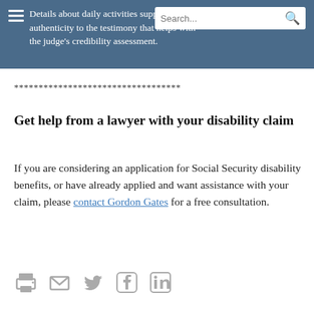Details about daily activities supply an authenticity to the testimony that helps with the judge's credibility assessment.
**********************************
Get help from a lawyer with your disability claim
If you are considering an application for Social Security disability benefits, or have already applied and want assistance with your claim, please contact Gordon Gates for a free consultation.